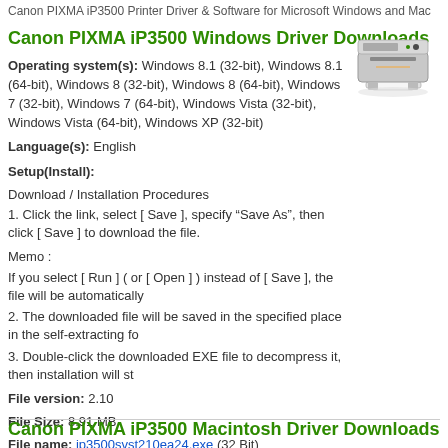Canon PIXMA iP3500 Printer Driver & Software for Microsoft Windows and Mac
Canon PIXMA iP3500 Windows Driver Downloads
Operating system(s): Windows 8.1 (32-bit), Windows 8.1 (64-bit), Windows 8 (32-bit), Windows 8 (64-bit), Windows 7 (32-bit), Windows 7 (64-bit), Windows Vista (32-bit), Windows Vista (64-bit), Windows XP (32-bit)
Language(s): English
Setup(Install):
Download / Installation Procedures
1. Click the link, select [ Save ], specify “Save As”, then click [ Save ] to download the file.
Memo :
If you select [ Run ] ( or [ Open ] ) instead of [ Save ], the file will be automatically
2. The downloaded file will be saved in the specified place in the self-extracting fo
3. Double-click the downloaded EXE file to decompress it, then installation will st
File version: 2.10
File Size: 8.91 MB
File name: ip3500svst210ea24.exe (32 Bit)
File name: ip3500svst64210ea24.exe (32 Bit)
Canon PIXMA iP3500 Macintosh Driver Downloads